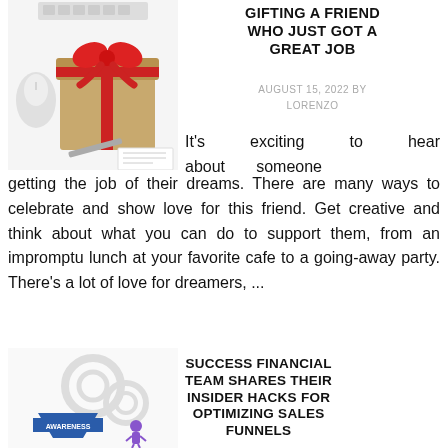[Figure (photo): A wrapped gift box with a red ribbon bow on a light background with a keyboard and mouse visible]
GIFTING A FRIEND WHO JUST GOT A GREAT JOB
AUGUST 15, 2022 BY LORENZO
It's exciting to hear about someone getting the job of their dreams. There are many ways to celebrate and show love for this friend. Get creative and think about what you can do to support them, from an impromptu lunch at your favorite cafe to a going-away party. There's a lot of love for dreamers, ...
[READ MORE...]
[Figure (illustration): Business/marketing illustration showing gears, a funnel with AWARENESS label, and a small character figure]
SUCCESS FINANCIAL TEAM SHARES THEIR INSIDER HACKS FOR OPTIMIZING SALES FUNNELS